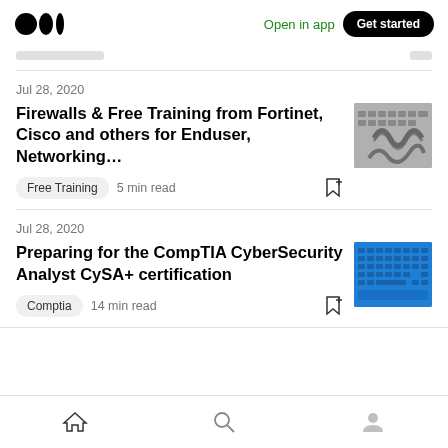Open in app | Get started
Jul 28, 2020
Firewalls & Free Training from Fortinet, Cisco and others for Enduser, Networking...
Free Training · 5 min read
Jul 28, 2020
Preparing for the CompTIA CyberSecurity Analyst CySA+ certification
Comptia · 14 min read
Home | Search | Profile